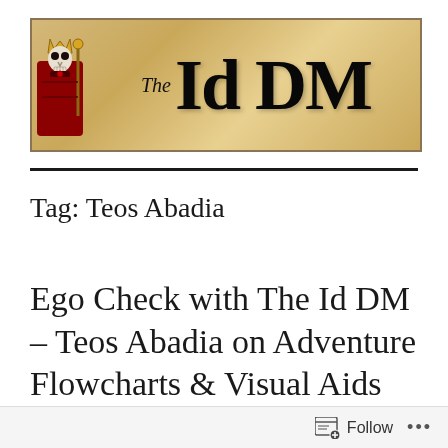[Figure (logo): The Id DM blog header banner with a skeleton king illustration on the left and medieval gothic text reading 'The Id DM' on a parchment-colored background]
Tag: Teos Abadia
Ego Check with The Id DM – Teos Abadia on Adventure Flowcharts & Visual Aids
Follow ...